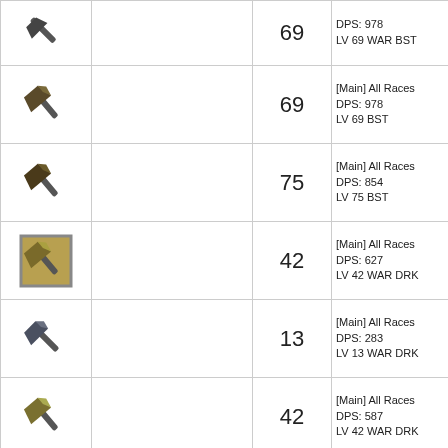| Icon | Name | Level | Info |
| --- | --- | --- | --- |
| [axe icon] |  | 69 | DPS: 978
LV 69 WAR BST |
| [axe icon] |  | 69 | [Main] All Races
DPS: 978
LV 69 BST |
| [axe icon] |  | 75 | [Main] All Races
DPS: 854
LV 75 BST |
| [axe framed icon] |  | 42 | [Main] All Races
DPS: 627
LV 42 WAR DRK |
| [axe icon] |  | 13 | [Main] All Races
DPS: 283
LV 13 WAR DRK |
| [axe icon] |  | 42 | [Main] All Races
DPS: 587
LV 42 WAR DRK |
| [axe icon] |  | 77 | [Main] All Races
DPS: 1062
LV 77 WAR DRK |
| [axe icon] |  | 87 | [Main] All Races
DPS: 1271
LV 87 WAR DRK |
| [axe framed icon] |  | 87 | [Main] All Races
DPS: 1329
LV 87 WAR DRK |
| [axe icon] |  | 87 | [Main] All Races
DPS: 1399
LV 87 WAR BST |
| [axe icon] |  | 87 | [Main] All Races
DPS: 1260 |